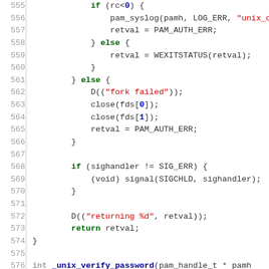[Figure (screenshot): Source code listing in C, lines 555-584, showing unix authentication code with syntax highlighting: green for keywords, red for string literals, blue for numeric literals and function names, gray for type keywords.]